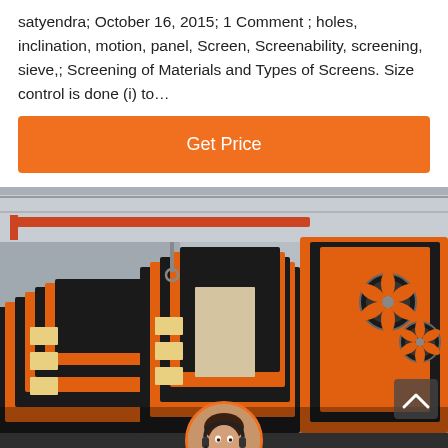satyendra; October 16, 2015; 1 Comment ; holes, inclination, motion, panel, Screen, Screenability, screening, sieve,; Screening of Materials and Types of Screens. Size control is done (i) to…
[Figure (other): Orange 'Get Price' button with rounded corners on white background]
[Figure (photo): Industrial factory interior showing stacked orange and black vibrating screen/sieve panels/machines in a large warehouse with overhead crane visible]
Leave Message   Chat Online